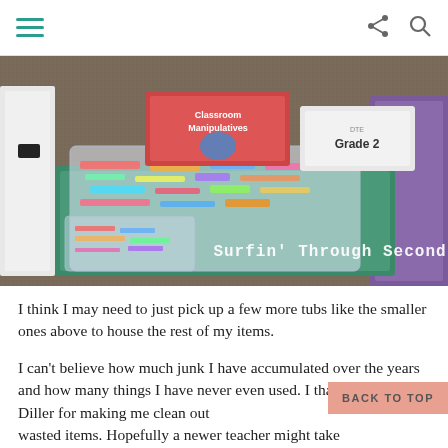≡ [hamburger menu]    [share icon] [search icon]
[Figure (photo): Photo of a box filled with plastic bags of colorful classroom manipulatives and supplies on a carpet floor, with storage bins labeled 'Classroom Manipulatives' and 'Grade 2' visible in the background. Watermark text reads 'Surfin Through Second'.]
I think I may need to just pick up a few more tubs like the smaller ones above to house the rest of my items.
I can't believe how much junk I have accumulated over the years and how many things I have never even used.  I thank Debbie Diller for making me clean out wasted items.  Hopefully a newer teacher might take